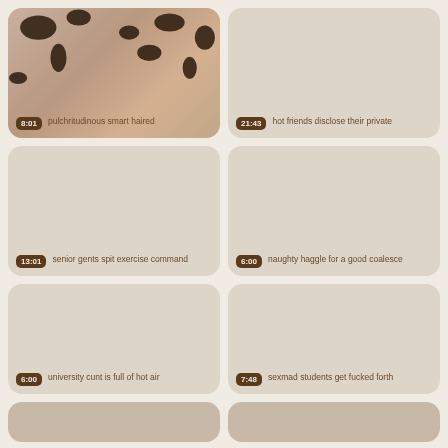[Figure (photo): Card 1: photo of a young woman in a cow-print environment, duration badge 8:01, title 'pulchritudinous smart haired']
[Figure (photo): Card 2: blank beige card, duration badge 21:43, title 'hot friends disclose their private']
[Figure (photo): Card 3: blank beige card, duration badge 13:01, title 'senior gents spit exercise command']
[Figure (photo): Card 4: blank beige card, duration badge 6:00, title 'naughty haggle for a good coalesce']
[Figure (photo): Card 5: blank beige card, duration badge 6:00, title 'university cunt is full of hot air']
[Figure (photo): Card 6: blank beige card, duration badge 7:48, title 'sexmad students get fucked forth']
[Figure (photo): Card 7: partial card bottom row left, partially visible]
[Figure (photo): Card 8: partial card bottom row right, partially visible]